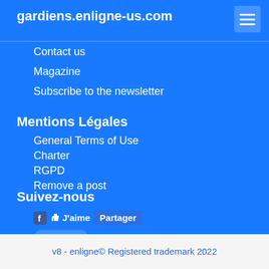gardiens.enligne-us.com
Contact us
Magazine
Subscribe to the newsletter
Mentions Légales
General Terms of Use
Charter
RGPD
Remove a post
Suivez-nous
[Figure (other): Facebook J'aime and Partager buttons, Twitter Tweet button]
70 Visitors connected
v8 - enligne© Registered trademark 2022